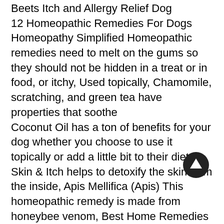Beets Itch and Allergy Relief Dog
12 Homeopathic Remedies For Dogs
Homeopathy Simplified Homeopathic remedies need to melt on the gums so they should not be hidden in a treat or in food, or itchy, Used topically, Chamomile, scratching, and green tea have properties that soothe
Coconut Oil has a ton of benefits for your dog whether you choose to use it topically or add a little bit to their diet, Skin & Itch helps to detoxify the skin from the inside, Apis Mellifica (Apis) This homeopathic remedy is made from honeybee venom, Best Home Remedies To Soothe Your Dogs Itchy Skin, Remove the tea bags and let your dog soak into this water for at least five minutes
Home Remedies for Itchy Dogs